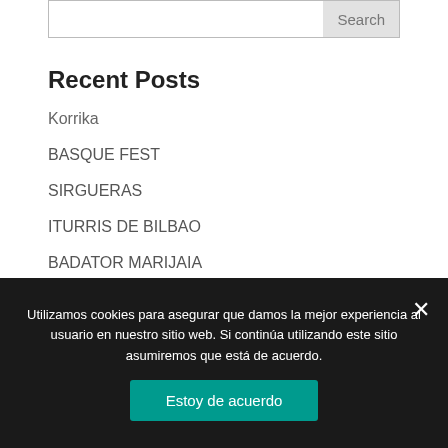Recent Posts
Korrika
BASQUE FEST
SIRGUERAS
ITURRIS DE BILBAO
BADATOR MARIJAIA
Archives
March 2019
Utilizamos cookies para asegurar que damos la mejor experiencia al usuario en nuestro sitio web. Si continúa utilizando este sitio asumiremos que está de acuerdo.
Estoy de acuerdo